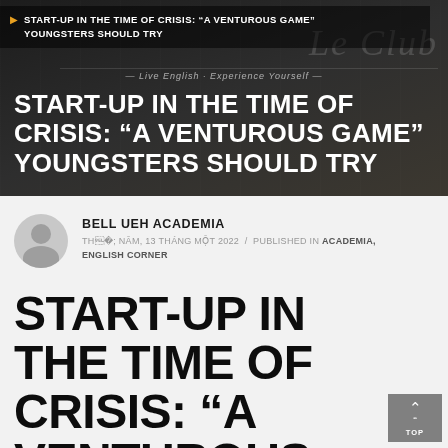[Figure (photo): Dark background hero image showing a dimly lit club/venue setting with 'Le Club' text visible and 'Live English · Experience Yourself' tagline]
START-UP IN THE TIME OF CRISIS: “A VENTUROUS GAME” YOUNGSTERS SHOULD TRY
START-UP IN THE TIME OF CRISIS: “A VENTUROUS GAME” YOUNGSTERS SHOULD TRY
BELL UEH ACADEMIA
THỨ NĂM, 13 THÁNG MỘT 2022 / PUBLISHED IN ACADEMIA, ENGLISH CORNER
START-UP IN THE TIME OF CRISIS: “A VENTUROUS GAME